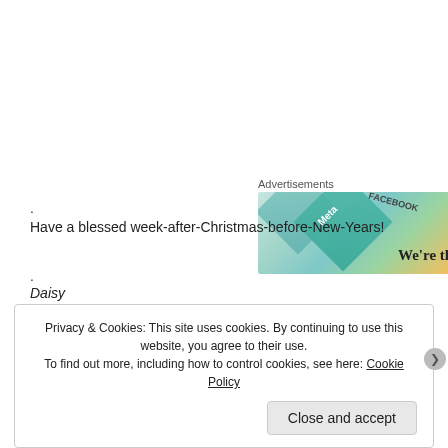[Figure (illustration): Advertisement banner showing social media brand tiles (Meta, Facebook) with text 'We're the' and colorful diamond shapes]
.
Have a blessed week-after-Christmas-before-New-Years!
.
Daisy
Read Full Post »
Privacy & Cookies: This site uses cookies. By continuing to use this website, you agree to their use. To find out more, including how to control cookies, see here: Cookie Policy
Close and accept